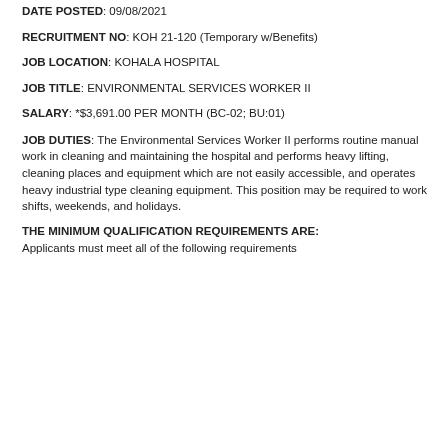DATE POSTED: 09/08/2021
RECRUITMENT NO: KOH 21-120 (Temporary w/Benefits)
JOB LOCATION: KOHALA HOSPITAL
JOB TITLE: ENVIRONMENTAL SERVICES WORKER II
SALARY: *$3,691.00 PER MONTH (BC-02; BU:01)
JOB DUTIES: The Environmental Services Worker II performs routine manual work in cleaning and maintaining the hospital and performs heavy lifting, cleaning places and equipment which are not easily accessible, and operates heavy industrial type cleaning equipment. This position may be required to work shifts, weekends, and holidays.
THE MINIMUM QUALIFICATION REQUIREMENTS ARE:
Applicants must meet all of the following requirements